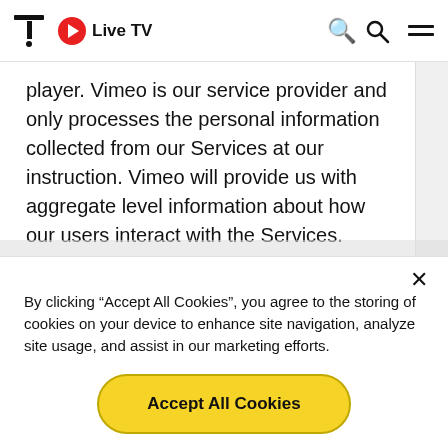Live TV
player. Vimeo is our service provider and only processes the personal information collected from our Services at our instruction. Vimeo will provide us with aggregate level information about how our users interact with the Services. However, Vimeo does not share any personal information about our users' viewing habits with us
By clicking “Accept All Cookies”, you agree to the storing of cookies on your device to enhance site navigation, analyze site usage, and assist in our marketing efforts.
Accept All Cookies
Cookies Settings